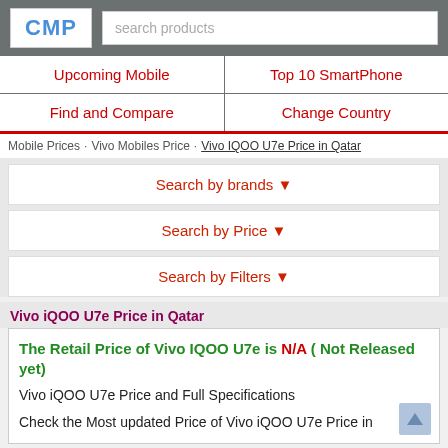CMP | search products
Upcoming Mobile
Top 10 SmartPhone
Find and Compare
Change Country
Mobile Prices > Vivo Mobiles Price > Vivo IQOO U7e Price in Qatar
Search by brands ▼
Search by Price ▼
Search by Filters ▼
Vivo iQOO U7e Price in Qatar
The Retail Price of Vivo IQOO U7e is N/A ( Not Released yet)
Vivo iQOO U7e Price and Full Specifications
Check the Most updated Price of Vivo iQOO U7e Price in